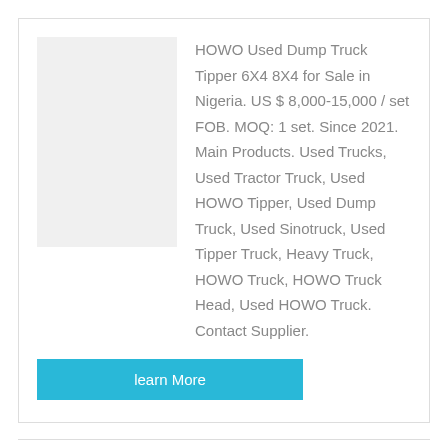HOWO Used Dump Truck Tipper 6X4 8X4 for Sale in Nigeria. US $ 8,000-15,000 / set FOB. MOQ: 1 set. Since 2021. Main Products. Used Trucks, Used Tractor Truck, Used HOWO Tipper, Used Dump Truck, Used Sinotruck, Used Tipper Truck, Heavy Truck, HOWO Truck, HOWO Truck Head, Used HOWO Truck. Contact Supplier.
learn More
[Figure (photo): Photo of a second hand truck, rear/side view, in a yard]
Second Hand Trucks Head 6x4 Beiben